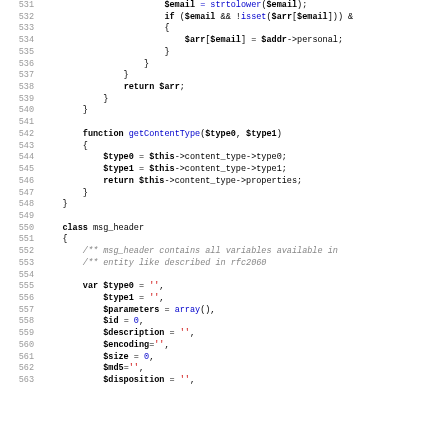[Figure (screenshot): PHP source code editor view showing lines 531-563 with syntax highlighting. Code includes conditional logic, return statements, a getContentType function, and the beginning of a msg_header class definition with variable declarations.]